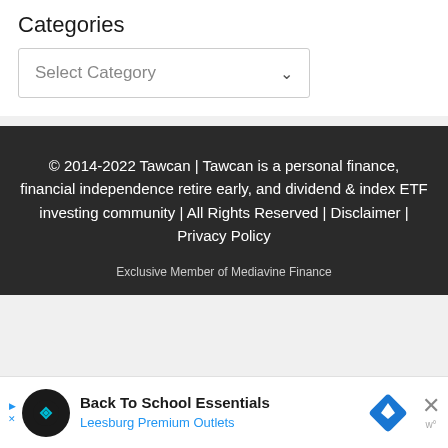Categories
Select Category
© 2014-2022 Tawcan | Tawcan is a personal finance, financial independence retire early, and dividend & index ETF investing community | All Rights Reserved | Disclaimer | Privacy Policy
Exclusive Member of Mediavine Finance
Back To School Essentials Leesburg Premium Outlets